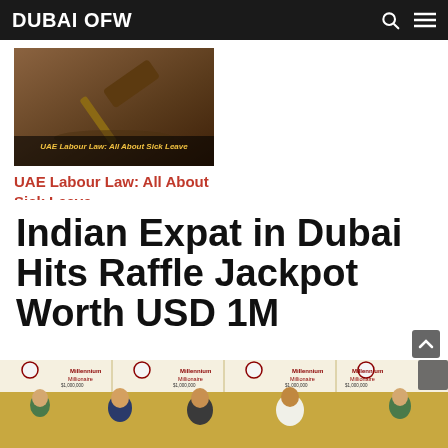DUBAI OFW
[Figure (photo): Thumbnail image showing a gavel on a surface with overlay text 'UAE Labour Law: All About Sick Leave']
UAE Labour Law: All About Sick Leave
Indian Expat in Dubai Hits Raffle Jackpot Worth USD 1M
[Figure (photo): Photo of people standing in front of Millennium Millionaire $1,000,000 banners at Dubai Duty Free event]